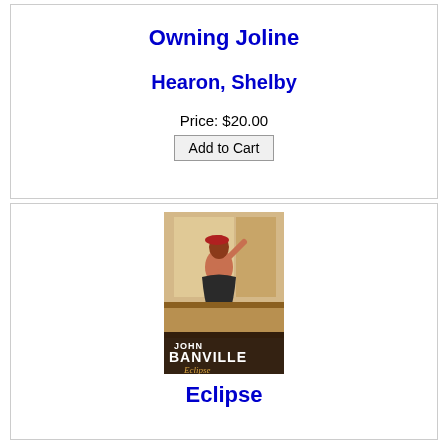Owning Joline
Hearon, Shelby
Price: $20.00
Add to Cart
[Figure (photo): Book cover of Eclipse by John Banville, showing a woman in period dress leaning out of a window]
Eclipse